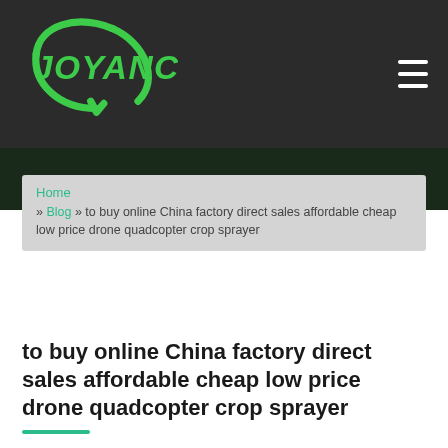[Figure (logo): Joyance logo — green stylized text JOYANCE with a circular swoosh arrow graphic]
Navigation header with Joyance logo and hamburger menu
Home » Blog » to buy online China factory direct sales affordable cheap low price drone quadcopter crop sprayer
to buy online China factory direct sales affordable cheap low price drone quadcopter crop sprayer